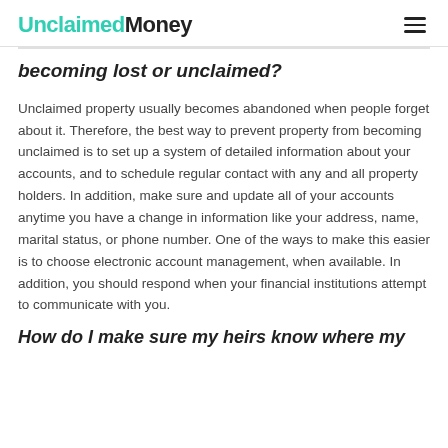UnclaimedMoney
becoming lost or unclaimed?
Unclaimed property usually becomes abandoned when people forget about it. Therefore, the best way to prevent property from becoming unclaimed is to set up a system of detailed information about your accounts, and to schedule regular contact with any and all property holders. In addition, make sure and update all of your accounts anytime you have a change in information like your address, name, marital status, or phone number. One of the ways to make this easier is to choose electronic account management, when available. In addition, you should respond when your financial institutions attempt to communicate with you.
How do I make sure my heirs know where my